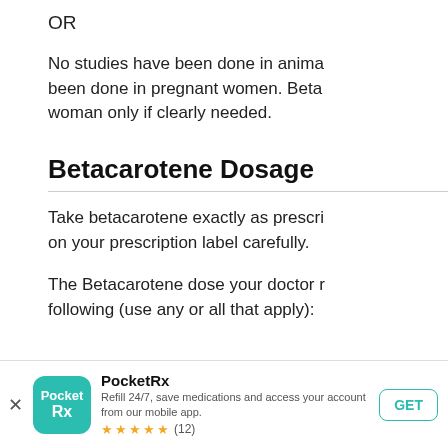OR
No studies have been done in animals, and no adequate studies have been done in pregnant women. Betacarotene should be used in a pregnant woman only if clearly needed.
Betacarotene Dosage
Take betacarotene exactly as prescribed. Read and follow the directions on your prescription label carefully.
The Betacarotene dose your doctor may prescribe could include the following (use any or all that apply):
[Figure (other): PocketRx app banner advertisement. Logo shows teal rounded square with 'PocketRx' text. App name: PocketRx. Tagline: Refill 24/7, save medications and access your account from our mobile app. Rating: 5 stars (12 reviews). GET button in teal border.]